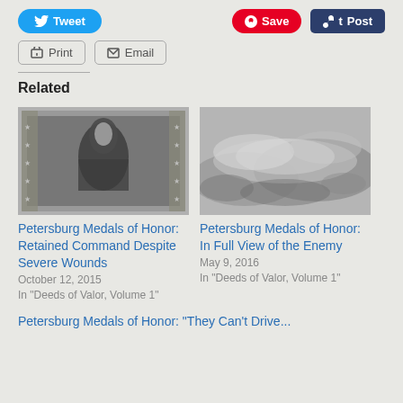[Figure (other): Social sharing buttons: Tweet (blue), Save (red Pinterest), Post (dark blue Tumblr), Print, Email]
Related
[Figure (photo): Black and white historical photograph, portrait of a Civil War era military figure in a decorative frame with star border]
[Figure (photo): Black and white photograph of what appears to be terrain or battlefield scene]
Petersburg Medals of Honor: Retained Command Despite Severe Wounds
October 12, 2015
In "Deeds of Valor, Volume 1"
Petersburg Medals of Honor: In Full View of the Enemy
May 9, 2016
In "Deeds of Valor, Volume 1"
Petersburg Medals of Honor: "They Can't Drive..."